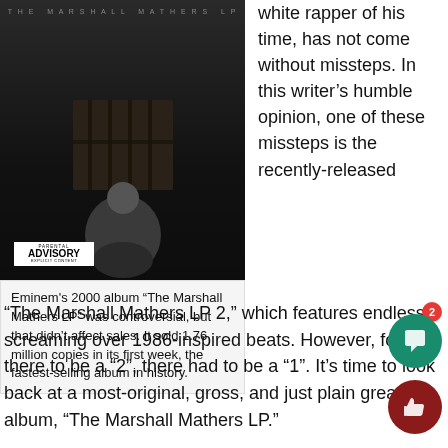[Figure (photo): Album cover of Eminem's The Marshall Mathers LP showing a person crouching by a barred window in a dark, gritty setting with a Parental Advisory sticker in the lower left.]
Eminem's 2000 album “The Marshall Mathers LP” was controversial, but that didn’t affect sales. It sold 1.76 million copies in its first week, the fastest-selling album in history.
white rapper of his time, has not come without missteps. In this writer’s humble opinion, one of these missteps is the recently-released
“The Marshall Mathers LP 2,” which features endless screaming over 1986-inspired beats. However, for there to be a “2”, there had to be a “1”. It’s time to look back at a most-original, gross, and just plain great rap album, “The Marshall Mathers LP.”